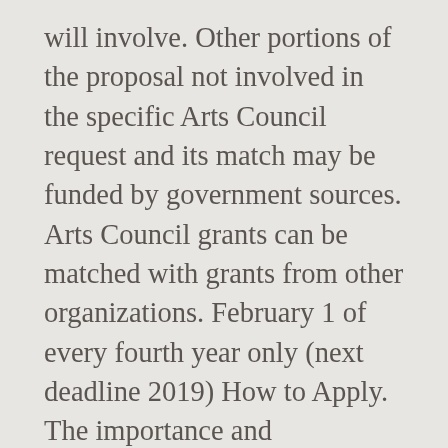will involve. Other portions of the proposal not involved in the specific Arts Council request and its match may be funded by government sources. Arts Council grants can be matched with grants from other organizations. February 1 of every fourth year only (next deadline 2019) How to Apply. The importance and appropriateness of the project to the organizationâ¤¤s mission, artistic field, artists, audience, community, and/or constituency. Until this program opens in Nova, the Ontario Arts Councilâ¤¤s online granting system, program information may change.This includes deadline dates and specific information on eligibility.